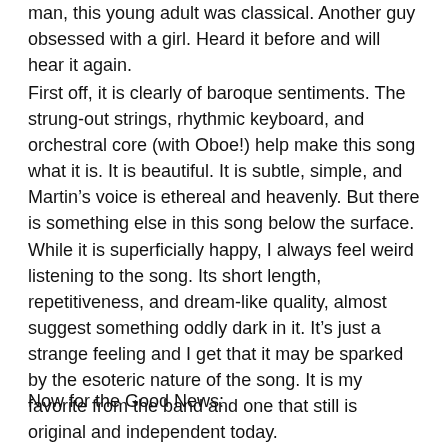man, this young adult was classical. Another guy obsessed with a girl. Heard it before and will hear it again.
First off, it is clearly of baroque sentiments. The strung-out strings, rhythmic keyboard, and orchestral core (with Oboe!) help make this song what it is. It is beautiful. It is subtle, simple, and Martin’s voice is ethereal and heavenly. But there is something else in this song below the surface. While it is superficially happy, I always feel weird listening to the song. Its short length, repetitiveness, and dream-like quality, almost suggest something oddly dark in it. It’s just a strange feeling and I get that it may be sparked by the esoteric nature of the song. It is my favorite from the band and one that still is original and independent today.
Now for the Good News: